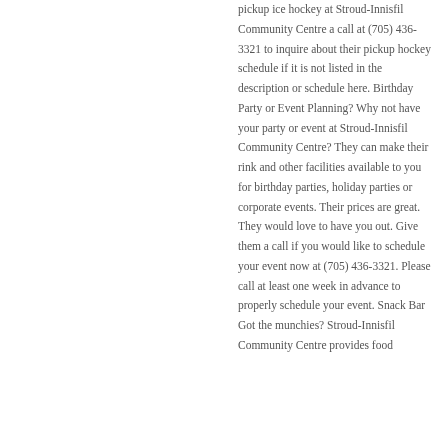pickup ice hockey at Stroud-Innisfil Community Centre a call at (705) 436-3321 to inquire about their pickup hockey schedule if it is not listed in the description or schedule here. Birthday Party or Event Planning? Why not have your party or event at Stroud-Innisfil Community Centre? They can make their rink and other facilities available to you for birthday parties, holiday parties or corporate events. Their prices are great. They would love to have you out. Give them a call if you would like to schedule your event now at (705) 436-3321. Please call at least one week in advance to properly schedule your event. Snack Bar Got the munchies? Stroud-Innisfil Community Centre provides food